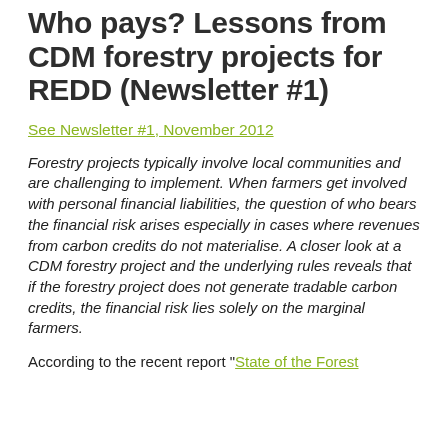Who pays? Lessons from CDM forestry projects for REDD (Newsletter #1)
See Newsletter #1, November 2012
Forestry projects typically involve local communities and are challenging to implement. When farmers get involved with personal financial liabilities, the question of who bears the financial risk arises especially in cases where revenues from carbon credits do not materialise. A closer look at a CDM forestry project and the underlying rules reveals that if the forestry project does not generate tradable carbon credits, the financial risk lies solely on the marginal farmers.
According to the recent report "State of the Forest